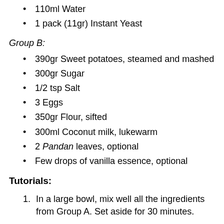110ml Water
1 pack (11gr) Instant Yeast
Group B:
390gr Sweet potatoes, steamed and mashed
300gr Sugar
1/2 tsp Salt
3 Eggs
350gr Flour, sifted
300ml Coconut milk, lukewarm
2 Pandan leaves, optional
Few drops of vanilla essence, optional
Tutorials:
In a large bowl, mix well all the ingredients from Group A. Set aside for 30 minutes.